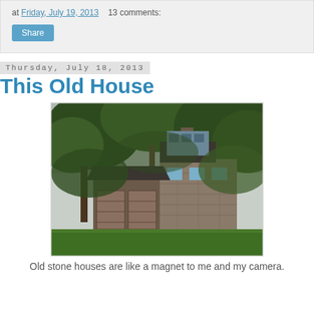at Friday, July 19, 2013   13 comments:
Share
Thursday, July 18, 2013
This Old House
[Figure (photo): An old stone house partially obscured by large trees, with a garage on the left and a stone facade on the right, surrounded by green grass and foliage.]
Old stone houses are like a magnet to me and my camera.